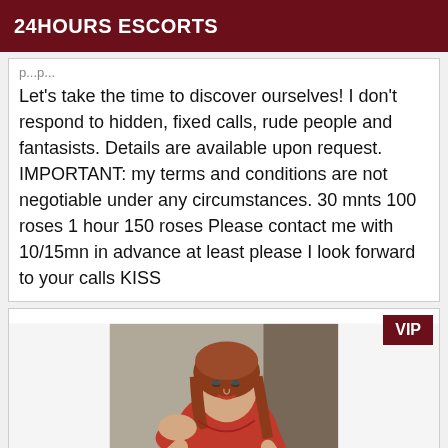24HOURS ESCORTS
Let's take the time to discover ourselves! I don't respond to hidden, fixed calls, rude people and fantasists. Details are available upon request. IMPORTANT: my terms and conditions are not negotiable under any circumstances. 30 mnts 100 roses 1 hour 150 roses Please contact me with 10/15mn in advance at least please I look forward to your calls KISS
[Figure (photo): Woman with red hair wearing a red dress, VIP badge in top right corner]